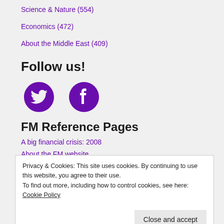Science & Nature (554)
Economics (472)
About the Middle East (409)
Follow us!
[Figure (illustration): Twitter bird icon and Facebook circle icon in purple]
FM Reference Pages
A big financial crisis: 2008
About the FM website
Privacy & Cookies: This site uses cookies. By continuing to use this website, you agree to their use. To find out more, including how to control cookies, see here: Cookie Policy
Close and accept